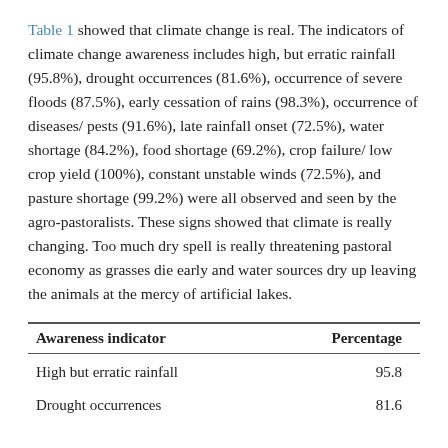Table 1 showed that climate change is real. The indicators of climate change awareness includes high, but erratic rainfall (95.8%), drought occurrences (81.6%), occurrence of severe floods (87.5%), early cessation of rains (98.3%), occurrence of diseases/ pests (91.6%), late rainfall onset (72.5%), water shortage (84.2%), food shortage (69.2%), crop failure/ low crop yield (100%), constant unstable winds (72.5%), and pasture shortage (99.2%) were all observed and seen by the agro-pastoralists. These signs showed that climate is really changing. Too much dry spell is really threatening pastoral economy as grasses die early and water sources dry up leaving the animals at the mercy of artificial lakes.
| Awareness indicator | Percentage |
| --- | --- |
| High but erratic rainfall | 95.8 |
| Drought occurrences | 81.6 |